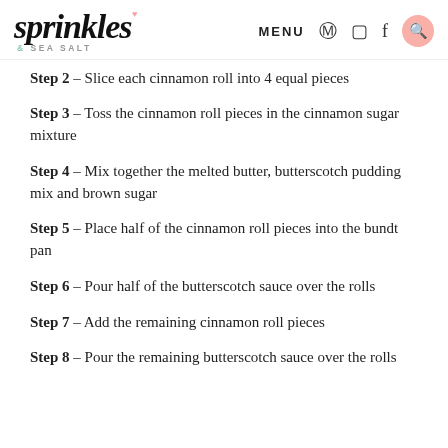sprinkles & SEA SALT — MENU
Step 2 – Slice each cinnamon roll into 4 equal pieces
Step 3 – Toss the cinnamon roll pieces in the cinnamon sugar mixture
Step 4 – Mix together the melted butter, butterscotch pudding mix and brown sugar
Step 5 – Place half of the cinnamon roll pieces into the bundt pan
Step 6 – Pour half of the butterscotch sauce over the rolls
Step 7 – Add the remaining cinnamon roll pieces
Step 8 – Pour the remaining butterscotch sauce over the rolls